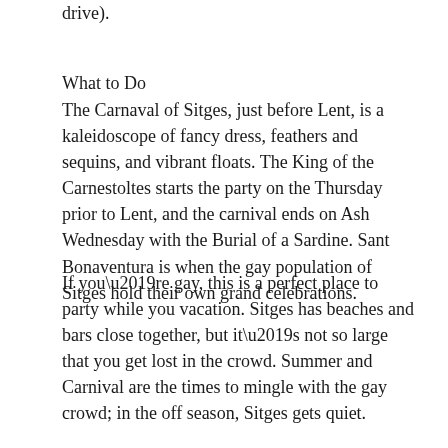Barcelona (a 30-minute train trip or 45-minute drive).
What to Do
The Carnaval of Sitges, just before Lent, is a kaleidoscope of fancy dress, feathers and sequins, and vibrant floats. The King of the Carnestoltes starts the party on the Thursday prior to Lent, and the carnival ends on Ash Wednesday with the Burial of a Sardine. Sant Bonaventura is when the gay population of Sitges hold their own grand celebrations.
If you’re gay, this is a perfect place to party while you vacation. Sitges has beaches and bars close together, but it’s not so large that you get lost in the crowd. Summer and Carnival are the times to mingle with the gay crowd; in the off season, Sitges gets quiet.